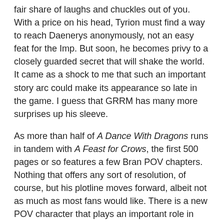fair share of laughs and chuckles out of you. With a price on his head, Tyrion must find a way to reach Daenerys anonymously, not an easy feat for the Imp. But soon, he becomes privy to a closely guarded secret that will shake the world. It came as a shock to me that such an important story arc could make its appearance so late in the game. I guess that GRRM has many more surprises up his sleeve.
As more than half of A Dance With Dragons runs in tandem with A Feast for Crows, the first 500 pages or so features a few Bran POV chapters. Nothing that offers any sort of resolution, of course, but his plotline moves forward, albeit not as much as most fans would like. There is a new POV character that plays an important role in this novel. However, since this is a spoiler-free review going up before the pub date, I will refrain from saying more. Suffice to say that this new POV offers new perspective on certain events, past and present, and is linked with a number of ongoing plotlines. Just when you believed that A Song of Ice and Fire couldn't get more convoluted, A Dance With Dragons raises the stakes even more. Secondary POVs include Davos and Reek, both of them meant to pave the way for what's taking